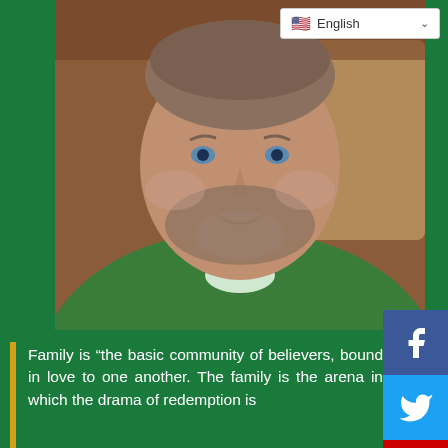[Figure (screenshot): Language selector dropdown showing English with US flag at top right of page]
[Figure (photo): Portrait photo of a Catholic priest wearing green vestments, with short hair and beard, smiling at the camera]
[Figure (other): Social media buttons on the right side: Facebook (blue), Twitter (light blue), YouTube (red), Instagram (gradient)]
Family is “the basic community of believers, bound in love to one another. The family is the arena in which the drama of redemption is